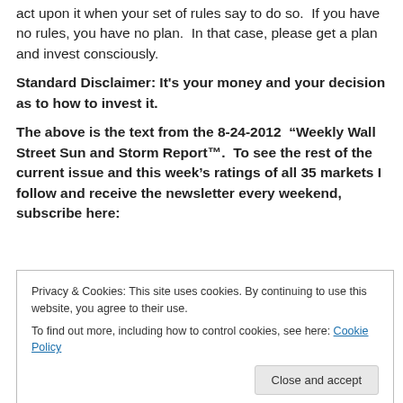act upon it when your set of rules say to do so.  If you have no rules, you have no plan.  In that case, please get a plan and invest consciously.
Standard Disclaimer: It's your money and your decision as to how to invest it.
The above is the text from the 8-24-2012  “Weekly Wall Street Sun and Storm Report™.  To see the rest of the current issue and this week’s ratings of all 35 markets I follow and receive the newsletter every weekend, subscribe here:
Privacy & Cookies: This site uses cookies. By continuing to use this website, you agree to their use.
To find out more, including how to control cookies, see here: Cookie Policy